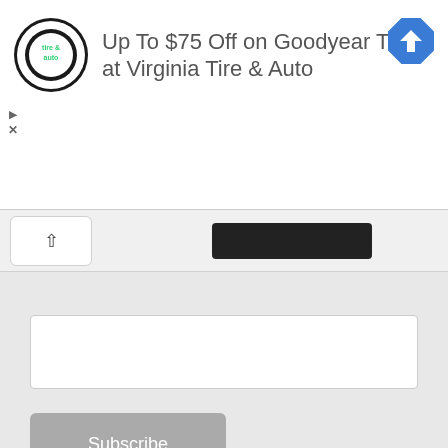[Figure (advertisement): Ad banner: Virginia Tire & Auto logo on left, text 'Up To $75 Off on Goodyear Tires at Virginia Tire & Auto' in center, blue navigation diamond icon on right. Play and X controls on left side.]
[Figure (screenshot): Collapsed tab with up-arrow caret button and a dark Subscribe button partially visible]
[Figure (screenshot): Empty email input text field]
Subscribe
[Figure (screenshot): Dotted horizontal divider line]